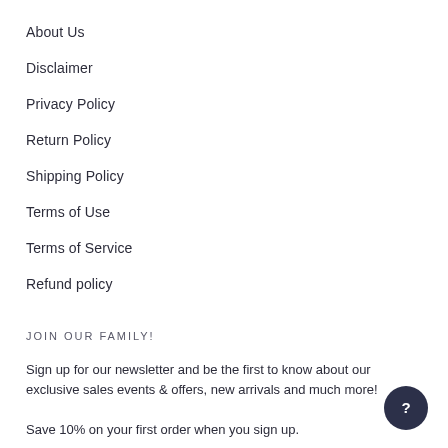About Us
Disclaimer
Privacy Policy
Return Policy
Shipping Policy
Terms of Use
Terms of Service
Refund policy
JOIN OUR FAMILY!
Sign up for our newsletter and be the first to know about our exclusive sales events & offers, new arrivals and much more!
Save 10% on your first order when you sign up.